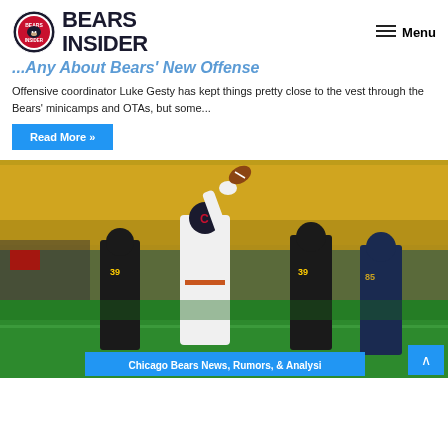Bears Insider — Menu
...Any About Bears' New Offense
Offensive coordinator Luke Gesty has kept things pretty close to the vest through the Bears' minicamps and OTAs, but some...
Read More »
[Figure (photo): A Chicago Bears player in white uniform reaches up to make a catch in an end zone surrounded by Pittsburgh Steelers players in black, with a stadium full of yellow-clad fans in the background. Player number 85 in Bears uniform visible on right. An overlay bar at bottom reads: Chicago Bears News, Rumors, & Analysi]
Chicago Bears News, Rumors, & Analysi